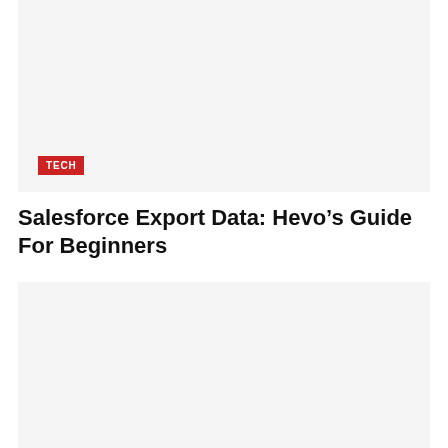[Figure (photo): Large placeholder image block at top of article page, light gray background]
TECH
Salesforce Export Data: Hevo’s Guide For Beginners
[Figure (photo): Large placeholder image block below the article title, light gray background]